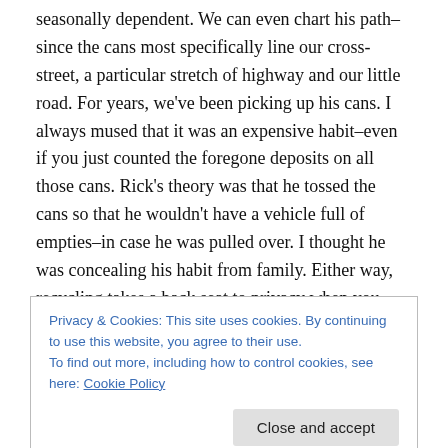seasonally dependent. We can even chart his path–since the cans most specifically line our cross-street, a particular stretch of highway and our little road. For years, we've been picking up his cans. I always mused that it was an expensive habit–even if you just counted the foregone deposits on all those cans. Rick's theory was that he tossed the cans so that he wouldn't have a vehicle full of empties–in case he was pulled over. I thought he was concealing his habit from family. Either way, recycling takes a back seat to privacy when you have something to hide.
Privacy & Cookies: This site uses cookies. By continuing to use this website, you agree to their use.
To find out more, including how to control cookies, see here: Cookie Policy
profile for our most durable litterbug. We've wondered